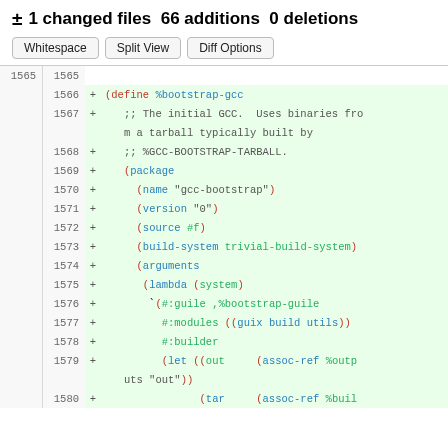± 1 changed files  66 additions  0 deletions
Whitespace  Split View  Diff Options
[Figure (screenshot): Code diff showing lines 1565-1580 of a Guix package definition file, with additions of a %bootstrap-gcc package definition in Scheme/Guile syntax. Lines added include define, package, name, version, source, build-system, arguments, lambda, guile, modules, builder, let, and tar expressions.]